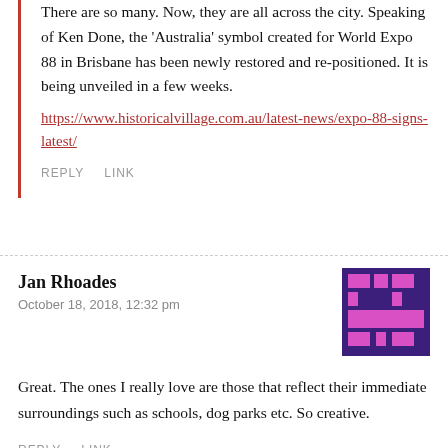There are so many. Now, they are all across the city. Speaking of Ken Done, the 'Australia' symbol created for World Expo 88 in Brisbane has been newly restored and re-positioned. It is being unveiled in a few weeks.
https://www.historicalvillage.com.au/latest-news/expo-88-signs-latest/
REPLY   LINK
Jan Rhoades
October 18, 2018, 12:32 pm
[Figure (illustration): Pixelated avatar icon with dark purple background and magenta/pink pixel art pattern.]
Great. The ones I really love are those that reflect their immediate surroundings such as schools, dog parks etc. So creative.
REPLY   LINK